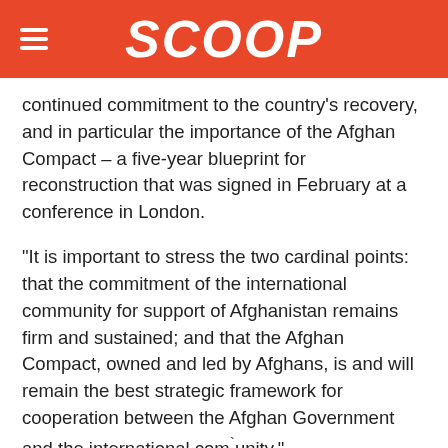SCOOP
continued commitment to the country’s recovery, and in particular the importance of the Afghan Compact – a five-year blueprint for reconstruction that was signed in February at a conference in London.
“It is important to stress the two cardinal points: that the commitment of the international community for support of Afghanistan remains firm and sustained; and that the Afghan Compact, owned and led by Afghans, is and will remain the best strategic framework for cooperation between the Afghan Government and the international community.”
A full report on the mission is now being prepared and will then be circulated to all Member States as a UN document ahead of a public meeting on Afghanistan sometime early next month, Mr. Oshima said.
In a related development, the head of the UN’s anti-